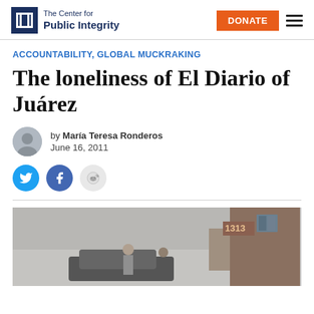The Center for Public Integrity
ACCOUNTABILITY, GLOBAL MUCKRAKING
The loneliness of El Diario of Juárez
by María Teresa Ronderos
June 16, 2011
[Figure (photo): Two people standing near a car outside a building with number 1313 visible]